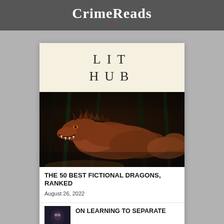CrimeReads
[Figure (logo): LIT HUB logo text on cream background]
[Figure (photo): Dark fantasy illustration of a large red/brown dragon with spiky scales, open mouth showing teeth, coiled neck, against a dark misty forest background]
THE 50 BEST FICTIONAL DRAGONS, RANKED
August 26, 2022
[Figure (photo): Small thumbnail image, dark tones, partial face]
ON LEARNING TO SEPARATE